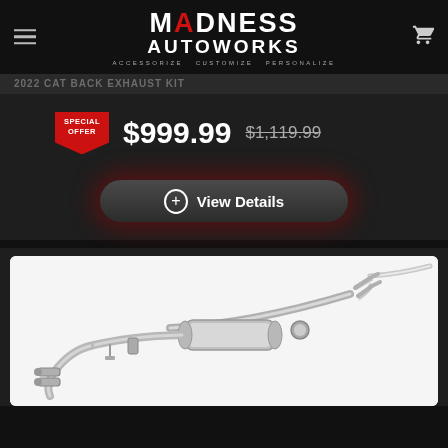MADNESS AUTOWORKS · ACCESSORIZE · CUSTOMIZE · PERSONALIZE
[Figure (screenshot): Partially visible product title bar with dark background]
$999.99  $1,119.99 (strikethrough) with SPECIAL OFFER badge
View Details button
[Figure (photo): Stainless steel cat-back exhaust system shown on white background, with muffler, dual tips, and connecting pipes]